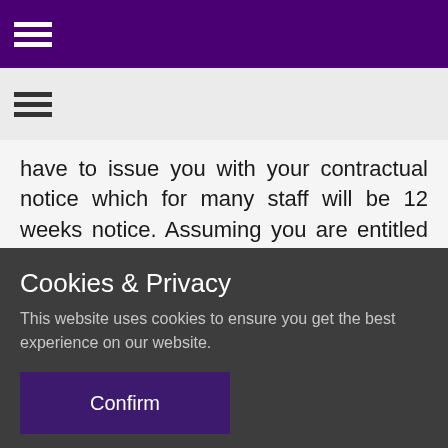[Figure (screenshot): Purple navigation header bar with white hamburger menu icon]
[Figure (screenshot): Light gray secondary navigation bar with dark hamburger menu icon]
have to issue you with your contractual notice which for many staff will be 12 weeks notice. Assuming you are entitled to 12 weeks notice the earliest any
Cookies & Privacy
This website uses cookies to ensure you get the best experience on our website.
Confirm